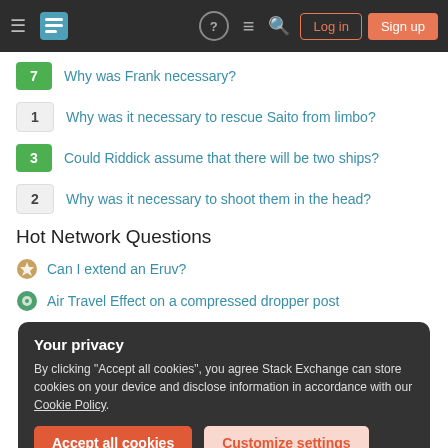Stack Exchange navigation bar with hamburger menu, logo, help, chat, search icons, Log in and Sign up buttons
7 — Why was Frank necessary?
1 — Why was it necessary to rescue Saito from limbo?
3 — Could Riddick assume that there will be two ships?
2 — Why was it necessary to shoot them in the head?
Hot Network Questions
Can I extend an Eruv?
Air Travel Effect on a compressed dropper post
Your privacy
By clicking "Accept all cookies", you agree Stack Exchange can store cookies on your device and disclose information in accordance with our Cookie Policy.
Accept all cookies | Customize settings